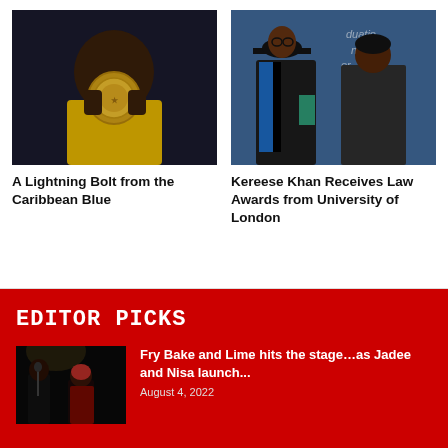[Figure (photo): Athlete holding a gold medal up to his face, yellow jersey]
[Figure (photo): Two women at a graduation ceremony, one in cap and gown holding an award]
A Lightning Bolt from the Caribbean Blue
Kereese Khan Receives Law Awards from University of London
EDITOR PICKS
[Figure (photo): Two performers on stage, dark background]
Fry Bake and Lime hits the stage…as Jadee and Nisa launch...
August 4, 2022